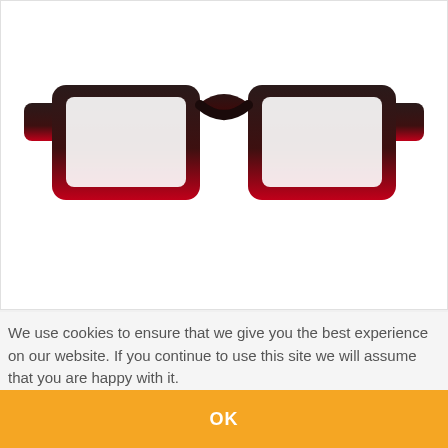[Figure (photo): A pair of rectangular eyeglasses with a dark brown/black to red gradient frame. The top portion of the frames is dark brown/black and transitions to red at the bottom. The frames are shown from the front on a white background.]
We use cookies to ensure that we give you the best experience on our website. If you continue to use this site we will assume that you are happy with it.
OK